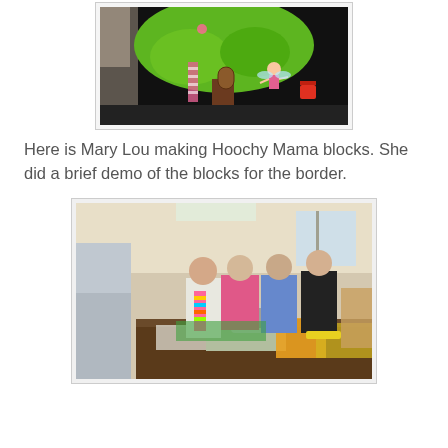[Figure (photo): A quilt showing a black background with a green tree, a fairy/gnome figure, a striped ladder, a wooden door, and colorful mushrooms or flowers]
Here is Mary Lou making Hoochy Mama blocks. She did a brief demo of the blocks for the border.
[Figure (photo): A group of women gathered around a table with a sewing machine and fabric pieces, demonstrating quilt block making in a community room setting]